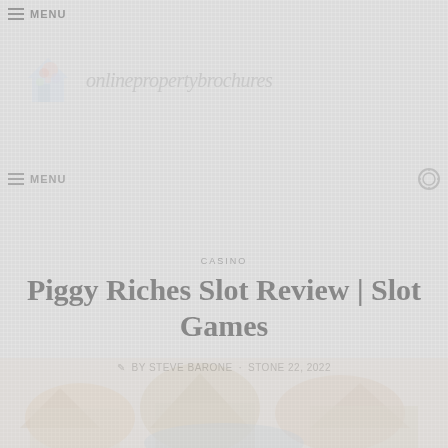≡ MENU
[Figure (logo): Website logo with colorful icon and italic script text reading 'onlinepropertybrochures']
≡ MENU
CASINO
Piggy Riches Slot Review | Slot Games
BY STEVE BARONE · STONE 22, 2022